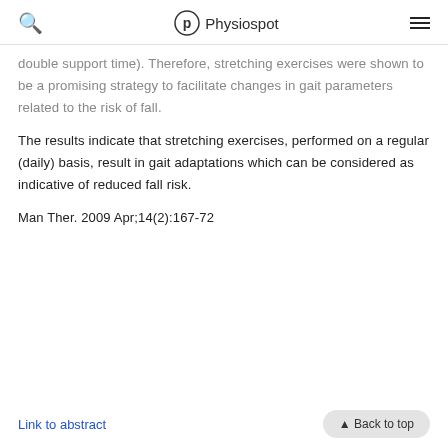Physiospot
double support time). Therefore, stretching exercises were shown to be a promising strategy to facilitate changes in gait parameters related to the risk of fall.
The results indicate that stretching exercises, performed on a regular (daily) basis, result in gait adaptations which can be considered as indicative of reduced fall risk.
Man Ther. 2009 Apr;14(2):167-72
Link to abstract